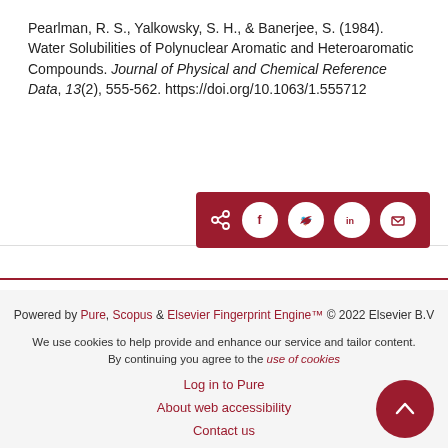Pearlman, R. S., Yalkowsky, S. H., & Banerjee, S. (1984). Water Solubilities of Polynuclear Aromatic and Heteroaromatic Compounds. Journal of Physical and Chemical Reference Data, 13(2), 555-562. https://doi.org/10.1063/1.555712
[Figure (other): Share bar with social media icons: share, Facebook, Twitter, LinkedIn, email on dark red background]
Powered by Pure, Scopus & Elsevier Fingerprint Engine™ © 2022 Elsevier B.V
We use cookies to help provide and enhance our service and tailor content. By continuing you agree to the use of cookies
Log in to Pure
About web accessibility
Contact us